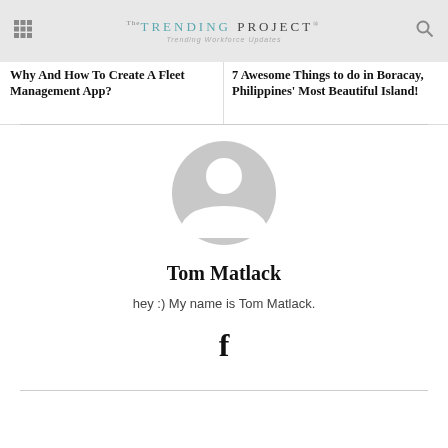The TRENDING PROJECT® Trending Workforce Updates
Why And How To Create A Fleet Management App?
7 Awesome Things to do in Boracay, Philippines' Most Beautiful Island!
[Figure (illustration): Default user avatar - grey circle with white silhouette of a person]
Tom Matlack
hey :) My name is Tom Matlack.
[Figure (logo): Facebook 'f' icon]